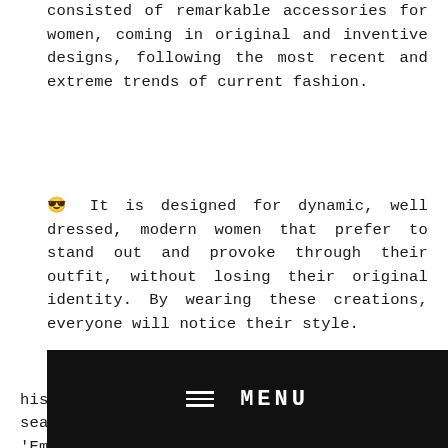consisted of remarkable accessories for women, coming in original and inventive designs, following the most recent and extreme trends of current fashion.
😎 It is designed for dynamic, well dressed, modern women that prefer to stand out and provoke through their outfit, without losing their original identity. By wearing these creations, everyone will notice their style.
Our designs are inspired by travels, history, religion, nature and internal search. We emphasize in music and arts. 'Emmanuela - handcrafted for you' jewellery is so trendy and unique, so you can wear them in all
MENU